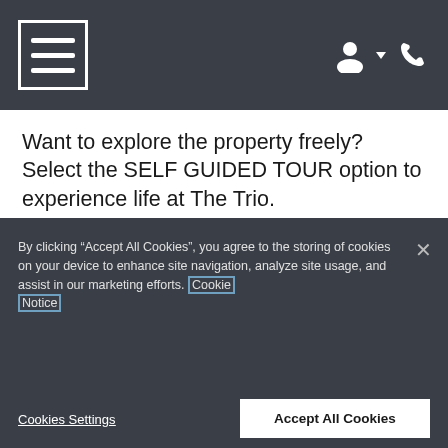Navigation bar with hamburger menu, user icon, and phone icon
Want to explore the property freely? Select the SELF GUIDED TOUR option to experience life at The Trio.
During your visit: Explore community amenities. Walk a 2 bedroom model home. Live life at Trio at your own pace.
By clicking “Accept All Cookies”, you agree to the storing of cookies on your device to enhance site navigation, analyze site usage, and assist in our marketing efforts. Cookie Notice
Cookies Settings
Accept All Cookies